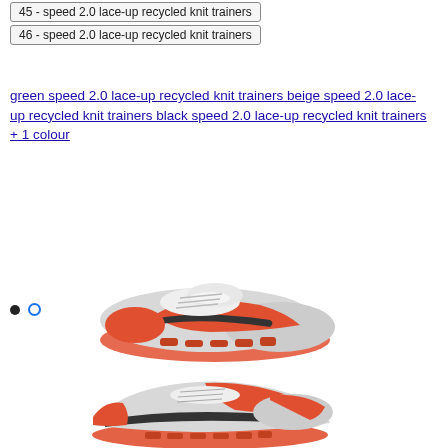45 - speed 2.0 lace-up recycled knit trainers
46 - speed 2.0 lace-up recycled knit trainers
green speed 2.0 lace-up recycled knit trainers beige speed 2.0 lace-up recycled knit trainers black speed 2.0 lace-up recycled knit trainers + 1 colour
[Figure (photo): White, grey, and orange/red trainer sneaker (speed 2.0 lace-up recycled knit trainer), side view showing chunky sole, viewed from slightly above at an angle.]
[Figure (photo): White, grey, and orange/red trainer sneaker (speed 2.0 lace-up recycled knit trainer), side view showing profile, viewed from lower angle.]